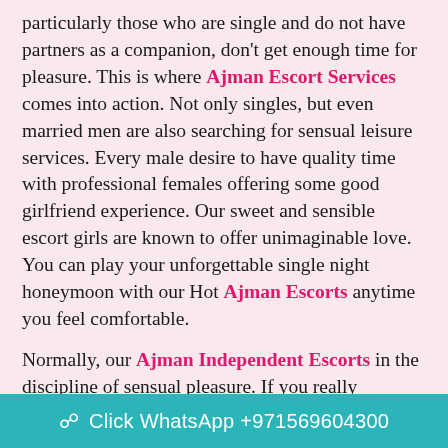particularly those who are single and do not have partners as a companion, don't get enough time for pleasure. This is where Ajman Escort Services comes into action. Not only singles, but even married men are also searching for sensual leisure services. Every male desire to have quality time with professional females offering some good girlfriend experience. Our sweet and sensible escort girls are known to offer unimaginable love. You can play your unforgettable single night honeymoon with our Hot Ajman Escorts anytime you feel comfortable.

Normally, our Ajman Independent Escorts in the discipline of sensual pleasure. If you really interested to reach a copulation with amazing girls, then you'll receive it readily without a troubles together with usbecause we're thrilled to function a profitable day to people, who is missing joyless in their existing lives, they then need to grasp the life span will rejoice and escape u... minutes using an astonishing lassies. In addition our
Click WhatsApp +971569604300